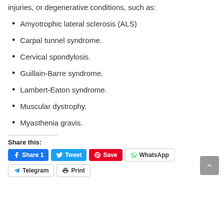injuries, or degenerative conditions, such as:
Amyotrophic lateral sclerosis (ALS)
Carpal tunnel syndrome.
Cervical spondylosis.
Guillain-Barre syndrome.
Lambert-Eaton syndrome.
Muscular dystrophy.
Myasthenia gravis.
Share this:
Share 1  Tweet  Save  WhatsApp  Telegram  Print